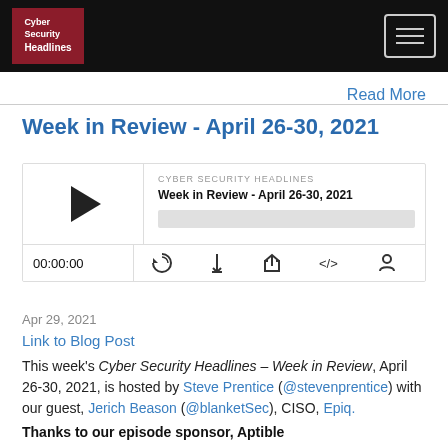Cyber Security Headlines
Read More
Week in Review - April 26-30, 2021
[Figure (other): Podcast player widget for 'Week in Review - April 26-30, 2021' on Cyber Security Headlines, showing play button, progress bar, timestamp 00:00:00, and controls for RSS, download, embed, and share.]
Apr 29, 2021
Link to Blog Post
This week's Cyber Security Headlines – Week in Review, April 26-30, 2021, is hosted by Steve Prentice (@stevenprentice) with our guest, Jerich Beason (@blanketSec), CISO, Epiq.
Thanks to our episode sponsor, Aptible